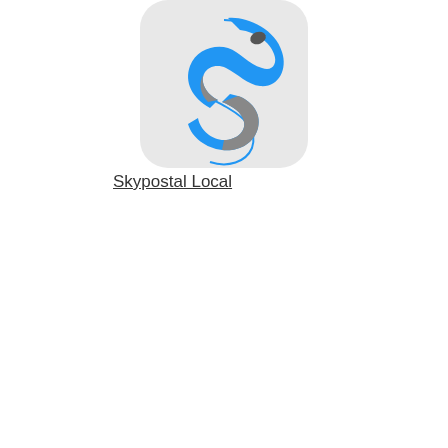[Figure (logo): Skypostal Local app icon showing a blue and gray stylized S bird/swoosh logo on a light gray rounded rectangle background]
Skypostal Local